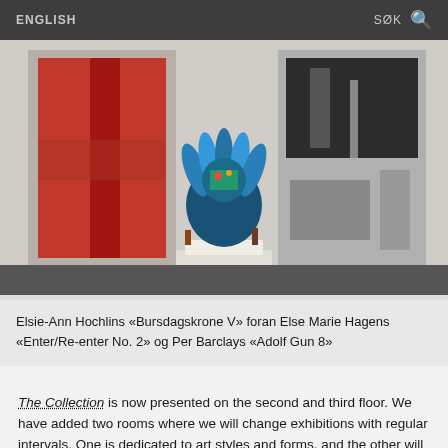ENGLISH   SØK
[Figure (photo): Museum gallery interior showing three artworks: a large red abstract painting on the left, a blue sculptural crown-like ceramic object on a white pedestal in the center, and a black-and-white photograph on the right.]
Elsie-Ann Hochlins «Bursdagskrone V» foran Else Marie Hagens «Enter/Re-enter No. 2» og Per Barclays «Adolf Gun 8»
The Collection is now presented on the second and third floor. We have added two rooms where we will change exhibitions with regular intervals. One is dedicated to art styles and forms, and the other will be focusing on a single artist. Winner of the 2017 Savio Award, Britta Marakatt-Labba will be the first artist, and the first theme will be Surrealism.